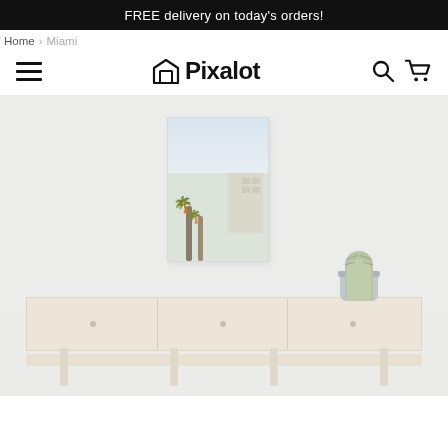FREE delivery on today's orders!
Home › Miami
[Figure (logo): Pixalot logo with house/frame icon and navigation icons (hamburger menu, search, cart)]
[Figure (photo): Room lifestyle photo showing a canvas print of Miami palm trees and building on a light wood dresser/console table, with a cactus in a silver pot, against a light grey-white wall.]